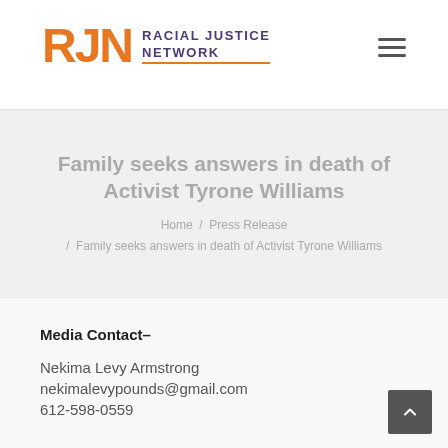RJN RACIAL JUSTICE NETWORK
Family seeks answers in death of Activist Tyrone Williams
Home / Press Release / Family seeks answers in death of Activist Tyrone Williams
Media Contact–
Nekima Levy Armstrong
nekimalevypounds@gmail.com
612-598-0559